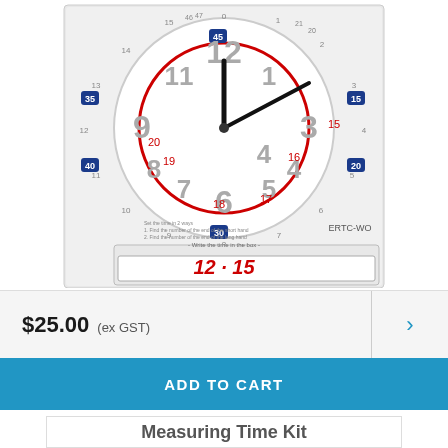[Figure (photo): Educational clock face showing time 12:15 with numbered minute and hour markings, red circle for minutes, blue numbered squares for 5-minute intervals, and a write-in box showing '12 · 15' in red. Product code ERTC-WO.]
$25.00 (ex GST)
ADD TO CART
Measuring Time Kit